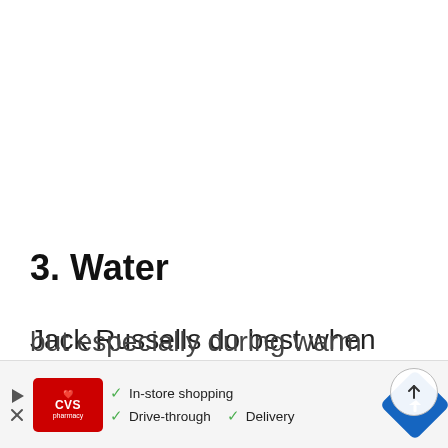3. Water
Jack Russells do best when they have access to clean water all of the time, but especially during warm weather
[Figure (other): Advertisement banner for CVS Pharmacy showing in-store shopping, drive-through, and delivery options with a navigation arrow icon]